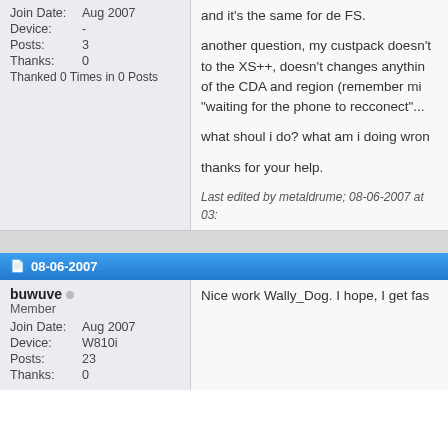Join Date: Aug 2007
Device: -
Posts: 3
Thanks: 0
Thanked 0 Times in 0 Posts
and it's the same for de FS.

another question, my custpack doesn't to the XS++, doesn't changes anything of the CDA and region (remember mi "waiting for the phone to recconect"...

what shoul i do? what am i doing wron

thanks for your help.
Last edited by metaldrume; 08-06-2007 at 03:
08-06-2007
buwuve
Member
Join Date: Aug 2007
Device: W810i
Posts: 23
Thanks: 0
Nice work Wally_Dog. I hope, I get fas